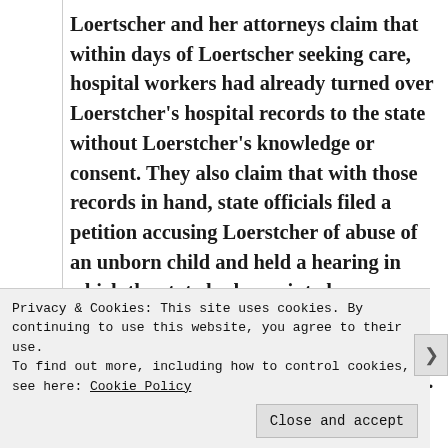Loertscher and her attorneys claim that within days of Loertscher seeking care, hospital workers had already turned over Loerstcher's hospital records to the state without Loerstcher's knowledge or consent. They also claim that with those records in hand, state officials filed a petition accusing Loerstcher of abuse of an unborn child and held a hearing in which the state had appointed an attorney, known as a guardian ad litem, for the 14-week-old fetus, but granted Loerstcher no meaningful representation.
Privacy & Cookies: This site uses cookies. By continuing to use this website, you agree to their use.
To find out more, including how to control cookies, see here: Cookie Policy